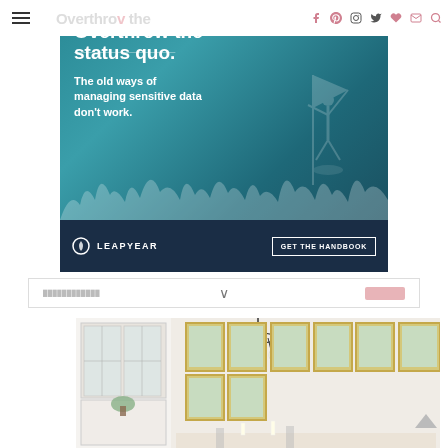Navigation bar with hamburger menu and social icons (Facebook, Pinterest, Instagram, Twitter, Bloglovin, Email, Search)
[Figure (illustration): Leapyear advertisement banner. Dark teal background with crowd silhouette and person raising fist. Text: 'Overthrow the status quo. The old ways of managing sensitive data don't work.' Bottom bar with Leapyear logo and 'GET THE HANDBOOK' button.]
[Figure (photo): Interior room photo showing a white china cabinet/hutch with glass doors, a black chandelier, framed botanical prints on the wall, and a dining table setting.]